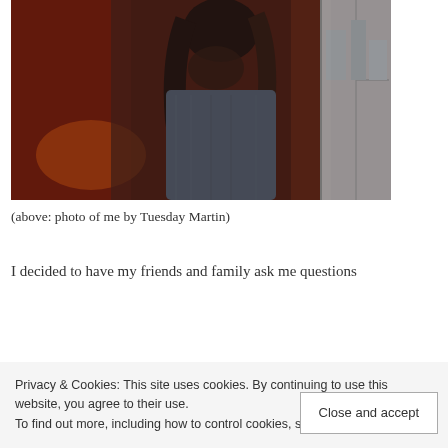[Figure (photo): A person with long dark hair wearing a denim jacket, photographed through or near a glass surface with reddish-brown tones and a window visible in the background.]
(above: photo of me by Tuesday Martin)
I decided to have my friends and family ask me questions
Privacy & Cookies: This site uses cookies. By continuing to use this website, you agree to their use.
To find out more, including how to control cookies, see here: Cookie Policy
Close and accept